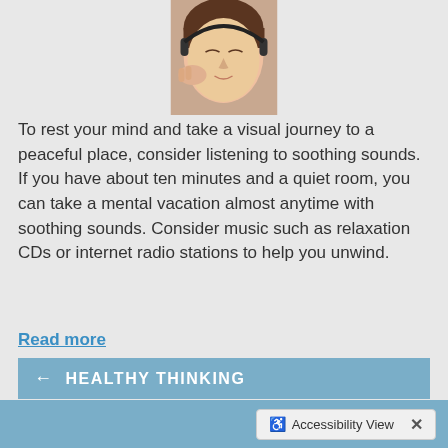[Figure (photo): Close-up photo of a young woman wearing headphones, eyes closed, relaxed expression]
To rest your mind and take a visual journey to a peaceful place, consider listening to soothing sounds. If you have about ten minutes and a quiet room, you can take a mental vacation almost anytime with soothing sounds. Consider music such as relaxation CDs or internet radio stations to help you unwind.
Read more
HEALTHY THINKING
GET POSITIVE
RELAXATION TECHNIQUES
Accessibility View